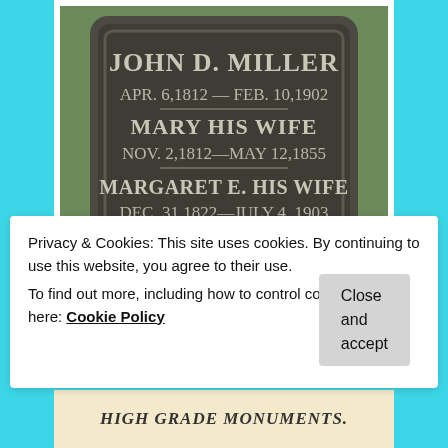[Figure (photo): Photograph of a gravestone for John D. Miller (Apr. 6, 1812 – Feb. 10, 1902), Mary his wife (Nov. 2, 1812 – May 12, 1855), and Margaret E. his wife (Dec. 31, 1822 – July 4, 1903)]
Privacy & Cookies: This site uses cookies. By continuing to use this website, you agree to their use.
To find out more, including how to control cookies, see here: Cookie Policy
[Figure (photo): Bottom strip showing partial text: HIGH GRADE MONUMENTS. with decorative script below]